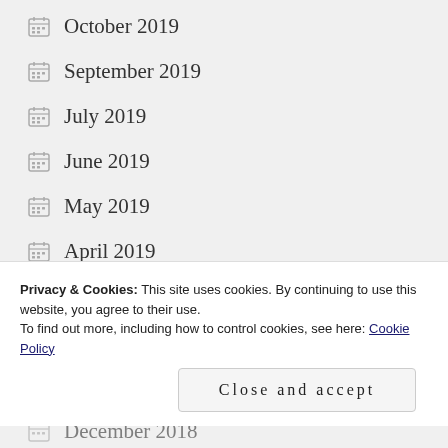October 2019
September 2019
July 2019
June 2019
May 2019
April 2019
March 2019
February 2019
January 2019
December 2018
Privacy & Cookies: This site uses cookies. By continuing to use this website, you agree to their use.
To find out more, including how to control cookies, see here: Cookie Policy
Close and accept